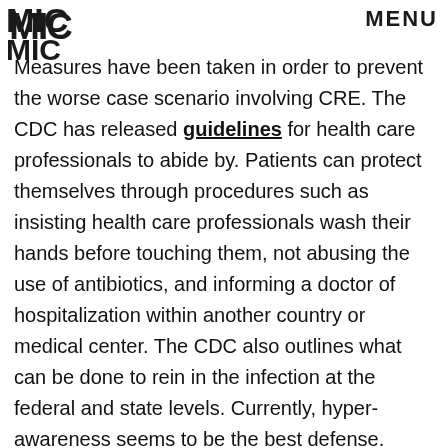MIC | MENU
Measures have been taken in order to prevent the worse case scenario involving CRE. The CDC has released guidelines for health care professionals to abide by. Patients can protect themselves through procedures such as insisting health care professionals wash their hands before touching them, not abusing the use of antibiotics, and informing a doctor of hospitalization within another country or medical center. The CDC also outlines what can be done to rein in the infection at the federal and state levels. Currently, hyper-awareness seems to be the best defense.